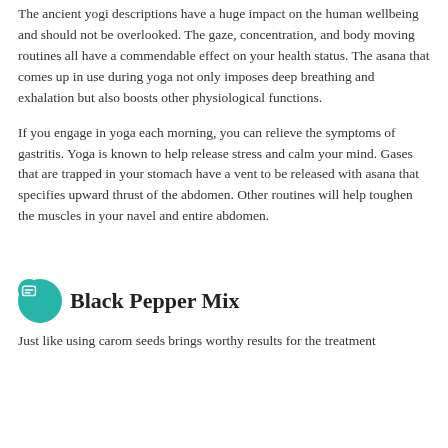The ancient yogi descriptions have a huge impact on the human wellbeing and should not be overlooked. The gaze, concentration, and body moving routines all have a commendable effect on your health status. The asana that comes up in use during yoga not only imposes deep breathing and exhalation but also boosts other physiological functions.
If you engage in yoga each morning, you can relieve the symptoms of gastritis. Yoga is known to help release stress and calm your mind. Gases that are trapped in your stomach have a vent to be released with asana that specifies upward thrust of the abdomen. Other routines will help toughen the muscles in your navel and entire abdomen.
Black Pepper Mix
Just like using carom seeds brings worthy results for the treatment